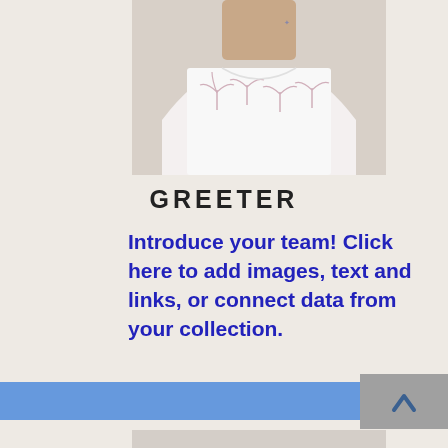[Figure (photo): Cropped photo of a person wearing a white tank top with pink palm tree print pattern, showing torso and neck area against a light background.]
GREETER
Introduce your team! Click here to add images, text and links, or connect data from your collection.
[Figure (screenshot): Blue navigation/scroll bar with a grey button showing an upward chevron arrow on the right side.]
[Figure (photo): Cropped photo showing the top of a person's head with curly/afro hair, against a light background.]